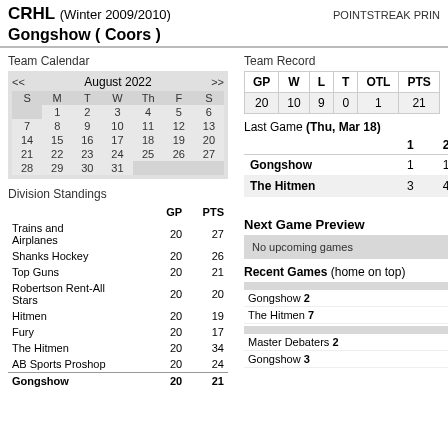CRHL (Winter 2009/2010)   POINTSTREK PRIN
Gongshow ( Coors )
Team Calendar
| S | M | T | W | Th | F | S |
| --- | --- | --- | --- | --- | --- | --- |
|  | 1 | 2 | 3 | 4 | 5 | 6 |
| 7 | 8 | 9 | 10 | 11 | 12 | 13 |
| 14 | 15 | 16 | 17 | 18 | 19 | 20 |
| 21 | 22 | 23 | 24 | 25 | 26 | 27 |
| 28 | 29 | 30 | 31 |  |  |  |
Division Standings
|  | GP | PTS |
| --- | --- | --- |
| Trains and Airplanes | 20 | 27 |
| Shanks Hockey | 20 | 26 |
| Top Guns | 20 | 21 |
| Robertson Rent-All Stars | 20 | 20 |
| Hitmen | 20 | 19 |
| Fury | 20 | 17 |
| The Hitmen | 20 | 34 |
| AB Sports Proshop | 20 | 24 |
| Gongshow | 20 | 21 |
Team Record
| GP | W | L | T | OTL | PTS |
| --- | --- | --- | --- | --- | --- |
| 20 | 10 | 9 | 0 | 1 | 21 |
Last Game (Thu, Mar 18)
|  | 1 | 2 |
| --- | --- | --- |
| Gongshow | 1 | 1 |
| The Hitmen | 3 | 4 |
Next Game Preview
No upcoming games
Recent Games (home on top)
Gongshow 2
The Hitmen 7
Master Debaters 2
Gongshow 3